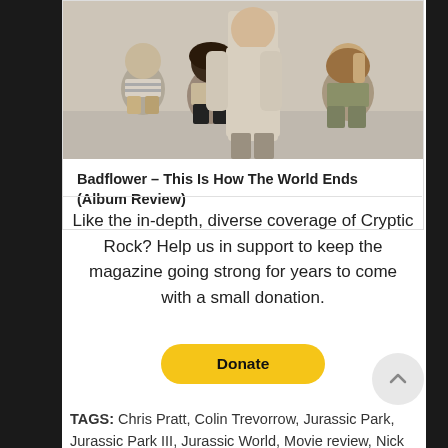[Figure (photo): Band photo of Badflower – four members against a light gray background, one standing tall in a beige sweater, others seated]
Badflower – This Is How The World Ends (Album Review)
Like the in-depth, diverse coverage of Cryptic Rock? Help us in support to keep the magazine going strong for years to come with a small donation.
[Figure (other): PayPal Donate button – yellow rounded rectangle with bold text 'Donate']
TAGS: Chris Pratt, Colin Trevorrow, Jurassic Park, Jurassic Park III, Jurassic World, Movie review, Nick Robinson, Summer Blockbuster, The Lost World: Jurassic Park, Ty Simpkins, Vincent D'Onofrio